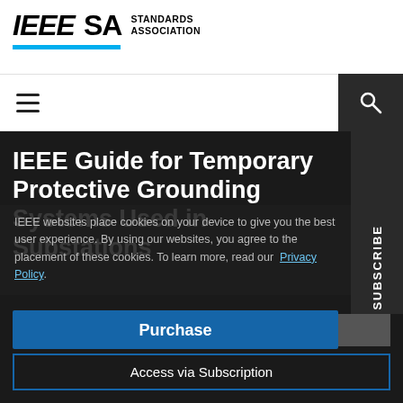[Figure (logo): IEEE SA Standards Association logo with cyan underbar]
[Figure (other): Navigation bar with hamburger menu and search icon]
IEEE Guide for Temporary Protective Grounding Systems Used in Substations
IEEE websites place cookies on your device to give you the best user experience. By using our websites, you agree to the placement of these cookies. To learn more, read our Privacy Policy.
Purchase
Accept & Close
Access via Subscription
SUBSCRIBE